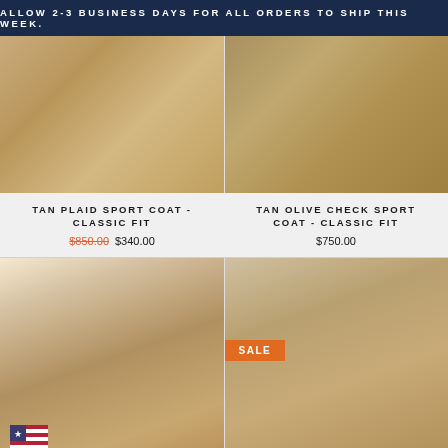ALLOW 2-3 BUSINESS DAYS FOR ALL ORDERS TO SHIP THIS WEEK.
[Figure (photo): Man wearing tan plaid sport coat, classic fit — torso/lower body view]
[Figure (photo): Man wearing tan olive check sport coat, classic fit — torso closeup view]
TAN PLAID SPORT COAT - CLASSIC FIT
$850.00  $340.00
TAN OLIVE CHECK SPORT COAT - CLASSIC FIT
$750.00
[Figure (photo): Man wearing tan plaid sport coat with blue tie and pink shirt — torso view with American flag badge]
[Figure (photo): Man wearing tan olive check sport coat with striped navy tie — torso view with SALE badge]